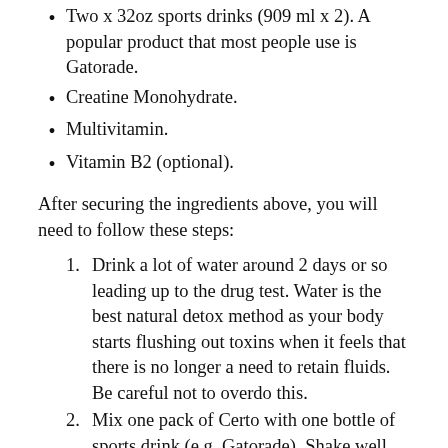Two x 32oz sports drinks (909 ml x 2). A popular product that most people use is Gatorade.
Creatine Monohydrate.
Multivitamin.
Vitamin B2 (optional).
After securing the ingredients above, you will need to follow these steps:
Drink a lot of water around 2 days or so leading up to the drug test. Water is the best natural detox method as your body starts flushing out toxins when it feels that there is no longer a need to retain fluids. Be careful not to overdo this.
Mix one pack of Certo with one bottle of sports drink (e.g. Gatorade). Shake well until